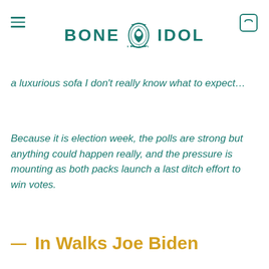BONE IDOL
a luxurious sofa I don't really know what to expect…
Because it is election week, the polls are strong but anything could happen really, and the pressure is mounting as both packs launch a last ditch effort to win votes.
— In Walks Joe Biden